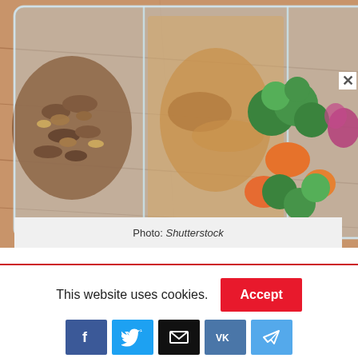[Figure (photo): Two glass meal prep containers filled with vegetables (broccoli, carrots, red onion) and nuts on a wooden surface]
Photo: Shutterstock
This website uses cookies.
[Figure (infographic): Social media sharing buttons: Facebook, Twitter, Email, VK, Telegram]